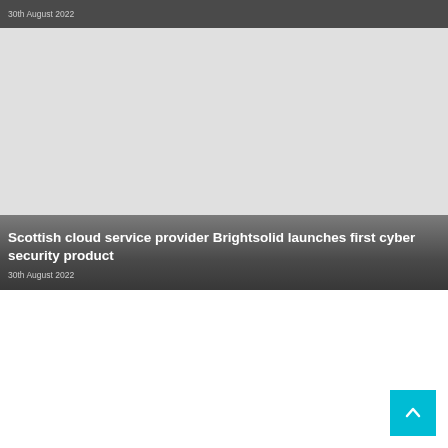30th August 2022
[Figure (photo): Dark banner with date text at top of page]
Scottish cloud service provider Brightsolid launches first cyber security product
30th August 2022
[Figure (other): Scroll to top button with upward chevron in cyan/blue color]